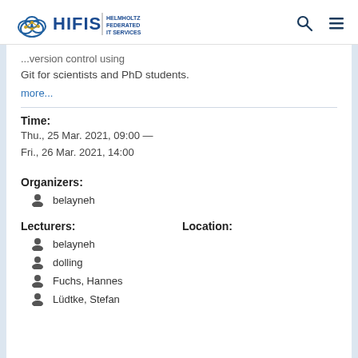[Figure (logo): HIFIS Helmholtz Federated IT Services logo with cloud and network icon]
...version control using Git for scientists and PhD students.
more...
Time:
Thu., 25 Mar. 2021, 09:00 —
Fri., 26 Mar. 2021, 14:00
Organizers:
belayneh
Lecturers:
belayneh
dolling
Fuchs, Hannes
Lüdtke, Stefan
Location: